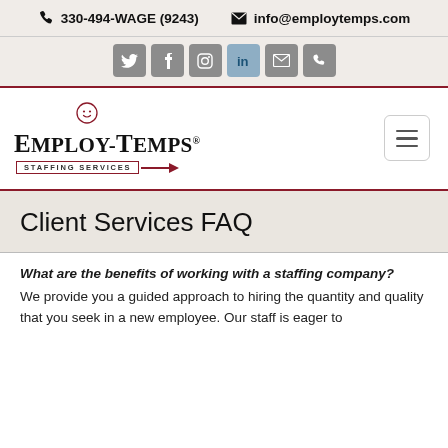330-494-WAGE (9243)   info@employtemps.com
[Figure (other): Social media icon buttons: Twitter, Facebook, Instagram, LinkedIn, Email, Phone]
[Figure (logo): Employ-Temps Staffing Services logo with smiley face and arrow, with hamburger menu button]
Client Services FAQ
What are the benefits of working with a staffing company?
We provide you a guided approach to hiring the quantity and quality that you seek in a new employee. Our staff is eager to